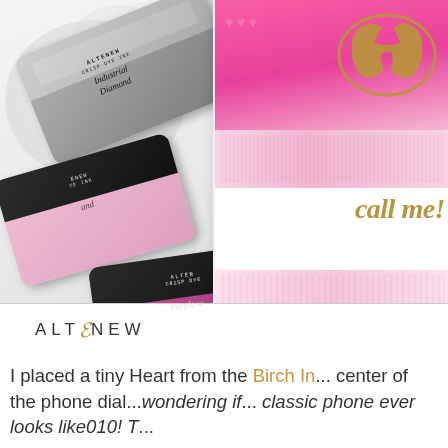[Figure (photo): Photo of Altenew Crisp Dye Ink pads in grey (Industrial Diamond), light pink, and magenta/purple colors scattered on a white surface, alongside a handmade greeting card featuring pink stamped designs and gold 'call me!' text with a vintage telephone die-cut, with the Altenew logo below the image.]
I placed a tiny Heart from the Birch In... center of the phone dial...wondering if... classic phone ever looks like010! T...